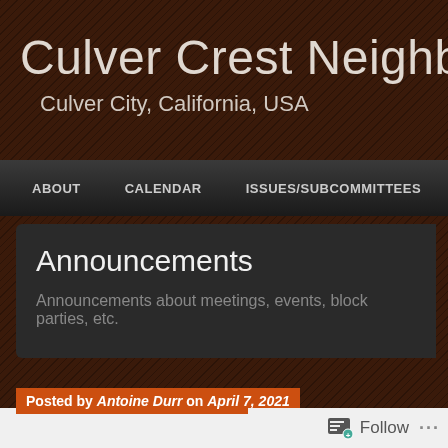Culver Crest Neighborhood
Culver City, California, USA
ABOUT   CALENDAR   ISSUES/SUBCOMMITTEES   RESO
Announcements
Announcements about meetings, events, block parties, etc.
Posted by Antoine Durr on April 7, 2021